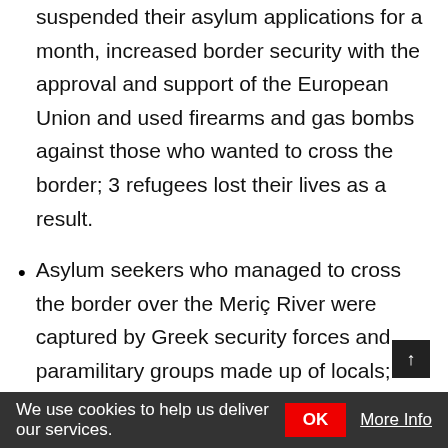suspended their asylum applications for a month, increased border security with the approval and support of the European Union and used firearms and gas bombs against those who wanted to cross the border; 3 refugees lost their lives as a result.
Asylum seekers who managed to cross the border over the Meriç River were captured by Greek security forces and paramilitary groups made up of locals; they were left back at the Meriç River, tortured with their belongings being taken.
The fact that Greek security forces did not receive the application for asylum and that their practices were in violation of and disregard for international law and human rights law means they had violated the European Convention on Human Rights' prohibition of collective expulsion of aliens and discrimination (i.e., right to life, right
We use cookies to help us deliver our services.